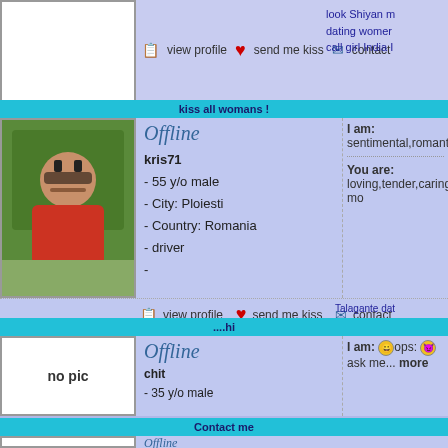[Figure (photo): Top area with placeholder photo box, view profile / send me kiss / contact action row, and right-side ad text about Shiyan dating]
look Shiyan m dating womer call girl India
kiss all womans !
[Figure (photo): Profile photo of kris71 - man in red shirt outdoors]
Offline
kris71
 - 55 y/o male
 - City: Ploiesti
 - Country: Romania
 - driver
 -
I am: sentimental,romantic,tender,k
You are: loving,tender,caring... mo
view profile   send me kiss   contact
Talagante dat date USA pretty women
....hi
[Figure (photo): No pic placeholder box with text 'no pic']
Offline
chit
 - 35 y/o male
 - City: Hyderabad
 - Country: India
 - medical
 -
I am: 😀ops: 😈 ask me... more
You are: ... 😈 ... more
view profile   send me kiss   contact
personals Me meet woman sexy ladies In
Contact me
Offline
kumar235
I am: Anybody interested me 😀